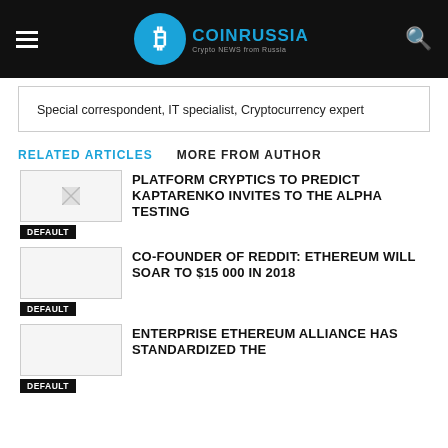COINRUSSIA — Crypto NEWS from Russia
Special correspondent, IT specialist, Cryptocurrency expert
RELATED ARTICLES   MORE FROM AUTHOR
PLATFORM CRYPTICS TO PREDICT KAPTARENKO INVITES TO THE ALPHA TESTING
CO-FOUNDER OF REDDIT: ETHEREUM WILL SOAR TO $15 000 IN 2018
ENTERPRISE ETHEREUM ALLIANCE HAS STANDARDIZED THE